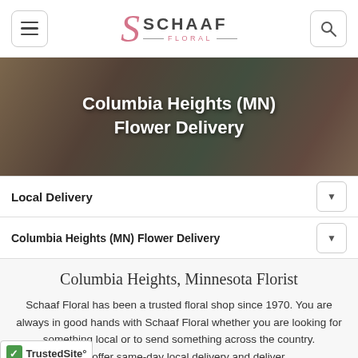[Figure (logo): Schaaf Floral logo with decorative S and company name]
[Figure (photo): Hero banner photo of florist hands working with flowers, overlaid with text 'Columbia Heights (MN) Flower Delivery']
Columbia Heights (MN) Flower Delivery
Local Delivery
Columbia Heights (MN) Flower Delivery
Columbia Heights, Minnesota Florist
Schaaf Floral has been a trusted floral shop since 1970. You are always in good hands with Schaaf Floral whether you are looking for something local or to send something across the country. We offer same-day local delivery and deliver